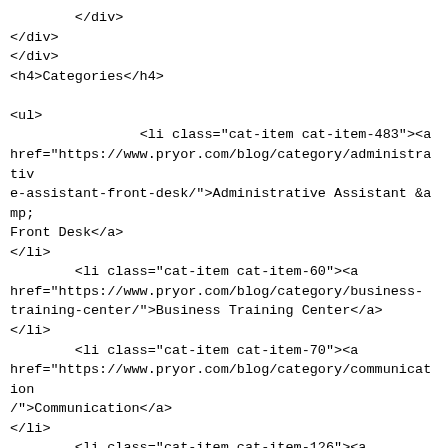</div>
</div>
</div>
<h4>Categories</h4>

<ul>
                <li class="cat-item cat-item-483"><a
href="https://www.pryor.com/blog/category/administrativ
e-assistant-front-desk/">Administrative Assistant &amp;
Front Desk</a>
</li>
        <li class="cat-item cat-item-60"><a
href="https://www.pryor.com/blog/category/business-
training-center/">Business Training Center</a>
</li>
        <li class="cat-item cat-item-70"><a
href="https://www.pryor.com/blog/category/communication
/">Communication</a>
</li>
        <li class="cat-item cat-item-126"><a
href="https://www.pryor.com/blog/category/computer/">Co
mputer</a>
</li>
        <li class="cat-item cat-item-280"><a
href="https://www.pryor.com/blog/category/continuing-
education/">Continuing Education Category</a>
</li>
        <li class="cat-item cat-item-170"><a
href="https://www.pryor.com/blog/category/customer-
service/">Customer Service</a>